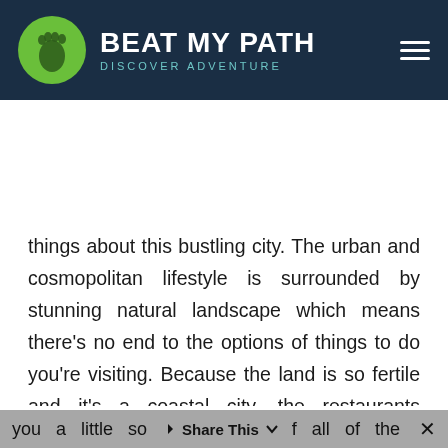BEAT MY PATH — DISCOVER ADVENTURE
things about this bustling city. The urban and cosmopolitan lifestyle is surrounded by stunning natural landscape which means there's no end to the options of things to do you're visiting. Because the land is so fertile and it's a coastal city, the restaurants throughout Auckland surf some of the best food in the world and it's becoming highly sought after by top-notch chefs. Want to get a taste of what Auckland has to offer? There are numerous food tours that give you a little so[Share This]f all of the
you   a   little   so   Share This   f   all   of   the   ×